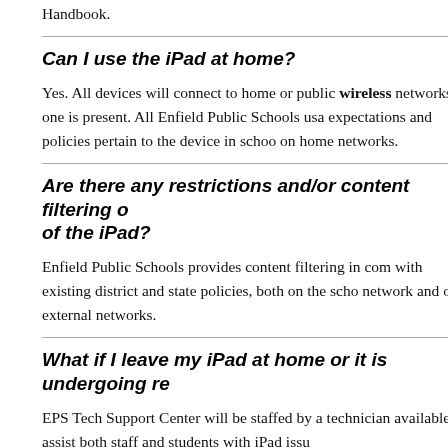Handbook.
Can I use the iPad at home?
Yes. All devices will connect to home or public wireless networks if one is present. All Enfield Public Schools usa expectations and policies pertain to the device in schoo on home networks.
Are there any restrictions and/or content filtering o of the iPad?
Enfield Public Schools provides content filtering in com with existing district and state policies, both on the scho network and on external networks.
What if I leave my iPad at home or it is undergoing re
EPS Tech Support Center will be staffed by a technician available to assist both staff and students with iPad issu
In special circumstances, EPS will offer loaner iPads to students. These loaner iPads are located in the Cent